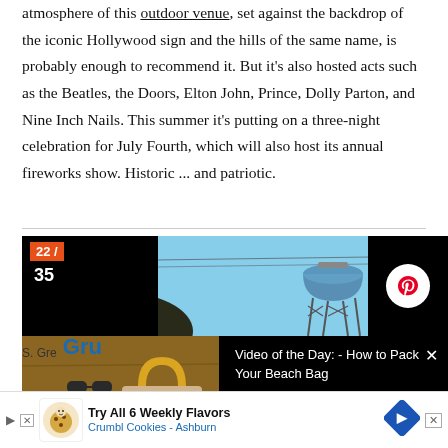atmosphere of this outdoor venue, set against the backdrop of the iconic Hollywood sign and the hills of the same name, is probably enough to recommend it. But it's also hosted acts such as the Beatles, the Doors, Elton John, Prince, Dolly Parton, and Nine Inch Nails. This summer it's putting on a three-night celebration for July Fourth, which will also host its annual fireworks show. Historic ... and patriotic.
[Figure (photo): Page UI element showing numbered badge '22/35', a photo of a water tower against blue sky with dark hills, a Pinterest share button, a beach bag photo, and a 'Video of the Day: How to Pack Your Beach Bag' video panel with close button]
S. Gre...
Gru...
[Figure (other): Advertisement: Try All 6 Weekly Flavors - Crumbl Cookies - Ashburn, with cookie logo and navigation arrow icon]